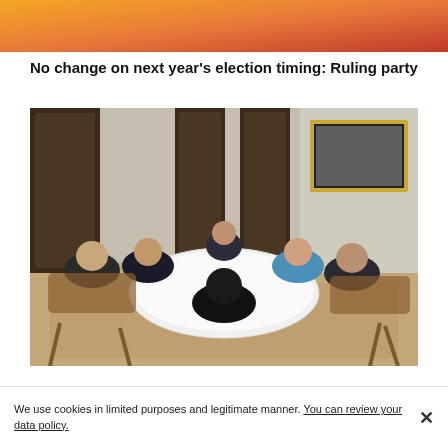[Figure (other): Orange-red gradient header bar across the top of the page]
No change on next year's election timing: Ruling party
[Figure (photo): Group of political figures seated around a round table covered with a white tablecloth in a formal room. A black-and-white framed photograph hangs on the wall in the background. One woman in a blue outfit is visible among the men in dark suits.]
We use cookies in limited purposes and legitimate manner. You can review your data policy.